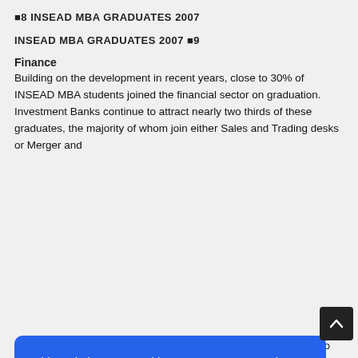◼8 INSEAD MBA GRADUATES 2007
INSEAD MBA GRADUATES 2007 ◼9
Finance
Building on the development in recent years, close to 30% of INSEAD MBA students joined the financial sector on graduation. Investment Banks continue to attract nearly two thirds of these graduates, the majority of whom join either Sales and Trading desks or Merger and the vast majority of finance positions could be found in Western Euro...
[Figure (screenshot): Blue cookie consent overlay dialog with text: 'This website uses cookies to ensure you get the best experience on our website. Our partners will collect data and use cookies for ad personalization and measurement.' with a link 'Learn how we and our partners collect and use data.' and an OK button. A dark scroll-to-top arrow button is visible at bottom right.]